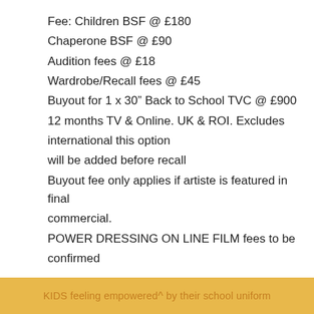Fee: Children BSF @ £180
Chaperone BSF @ £90
Audition fees @ £18
Wardrobe/Recall fees @ £45
Buyout for 1 x 30" Back to School TVC @ £900
12 months TV & Online. UK & ROI. Excludes international this option
will be added before recall
Buyout fee only applies if artiste is featured in final commercial.
POWER DRESSING ON LINE FILM fees to be confirmed
KIDS feeling empowered by their school uniform